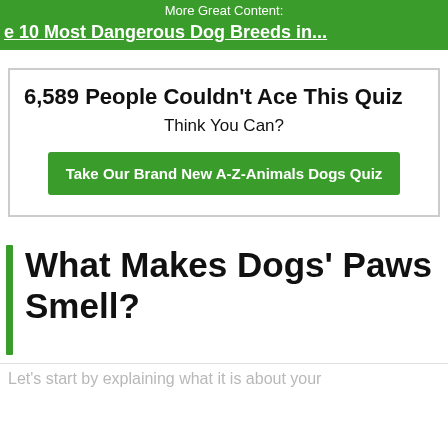More Great Content:
The 10 Most Dangerous Dog Breeds in...
6,589 People Couldn't Ace This Quiz
Think You Can?
Take Our Brand New A-Z-Animals Dogs Quiz
What Makes Dogs' Paws Smell?
Let's start by explaining what it is about your